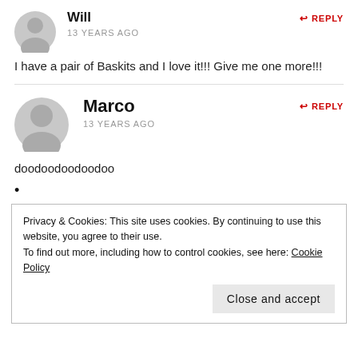Will
13 YEARS AGO
REPLY
I have a pair of Baskits and I love it!!! Give me one more!!!
Marco
13 YEARS AGO
REPLY
doodoodoodoodoo
•
Privacy & Cookies: This site uses cookies. By continuing to use this website, you agree to their use.
To find out more, including how to control cookies, see here: Cookie Policy
Close and accept